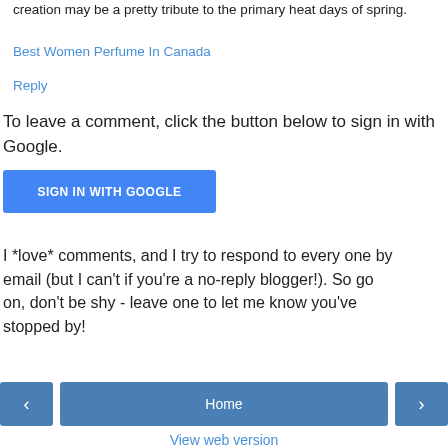creation may be a pretty tribute to the primary heat days of spring.
Best Women Perfume In Canada
Reply
To leave a comment, click the button below to sign in with Google.
[Figure (other): Blue button labeled SIGN IN WITH GOOGLE]
I *love* comments, and I try to respond to every one by email (but I can't if you're a no-reply blogger!). So go on, don't be shy - leave one to let me know you've stopped by!
[Figure (other): Navigation bar with back arrow button, Home button, and forward arrow button]
View web version
Powered by Blogger.